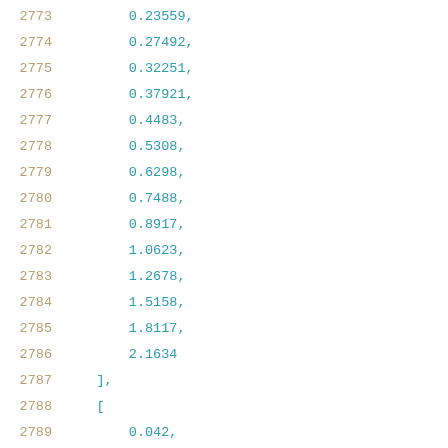2773    0.23559,
2774    0.27492,
2775    0.32251,
2776    0.37921,
2777    0.4483,
2778    0.5308,
2779    0.6298,
2780    0.7488,
2781    0.8917,
2782    1.0623,
2783    1.2678,
2784    1.5158,
2785    1.8117,
2786    2.1634
2787    ],
2788    [
2789    0.042,
2790    0.2355,
2791    0.275,
2792    0.3225,
2793    0.3792,